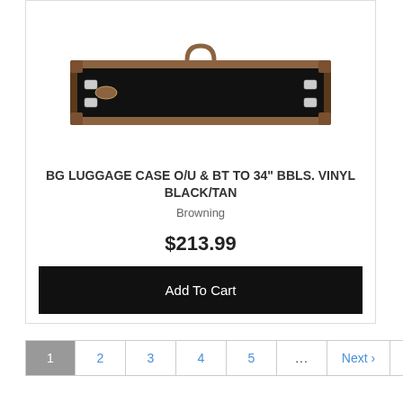[Figure (photo): A rectangular gun case (luggage style) with black vinyl exterior and brown/tan trim, shown closed with a handle on top and latches on the ends.]
BG LUGGAGE CASE O/U & BT TO 34" BBLS. VINYL BLACK/TAN
Browning
$213.99
Add To Cart
1 2 3 4 5 ... Next › Last »